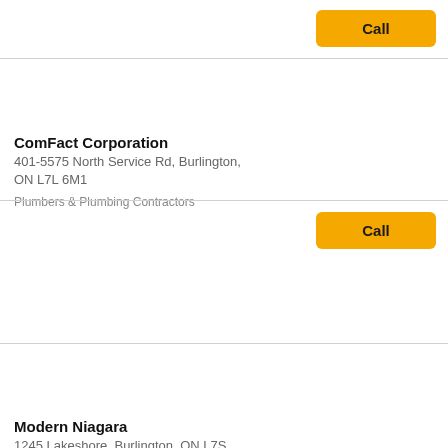ComFact Corporation
401-5575 North Service Rd, Burlington, ON L7L 6M1
Plumbers & Plumbing Contractors
Modern Niagara
1245 Lakeshore, Burlington, ON L7S 1A8
Plumbers & Plumbing Contractors, Mechanical Contrac...
Kirk Mechanical Limited
1451 Grahams Lane, Burlington, ON L7S 1W5
Contractor
Plumbers & Plumbing Contractors, Heating Contractors
Rating: 5 stars (1)